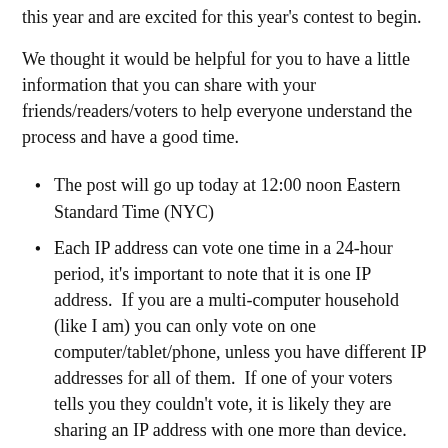this year and are excited for this year's contest to begin.
We thought it would be helpful for you to have a little information that you can share with your friends/readers/voters to help everyone understand the process and have a good time.
The post will go up today at 12:00 noon Eastern Standard Time (NYC)
Each IP address can vote one time in a 24-hour period, it's important to note that it is one IP address. If you are a multi-computer household (like I am) you can only vote on one computer/tablet/phone, unless you have different IP addresses for all of them. If one of your voters tells you they couldn't vote, it is likely they are sharing an IP address with one more than device.
Voting will end at 12:00 noon Eastern Standard Time next Sunday, September 1, 2013.
This year the photo with the most votes will be featured on the cover and have their choice of which